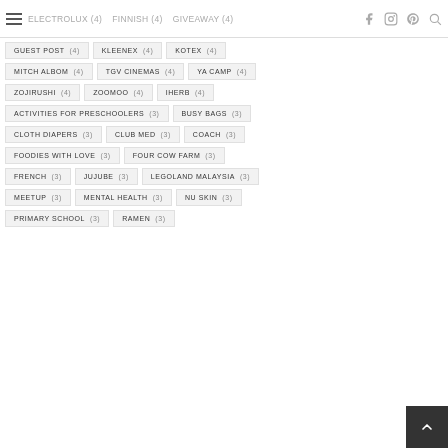ELECTROLUX (4)  FINNISH (4)  GIVEAWAY (4)
GUEST POST (4)
KLEENEX (4)
KOTEX (4)
MITCH ALBOM (4)
TGV CINEMAS (4)
YA CAMP (4)
ZOJIRUSHI (4)
ZOOMOO (4)
IHERB (4)
ACTIVITIES FOR PRESCHOOLERS (3)
BUSY BAGS (3)
CLOTH DIAPERS (3)
CLUB MED (3)
COACH (3)
FOODIES WITH LOVE (3)
FOUR COW FARM (3)
FRENCH (3)
JUJUBE (3)
LEGOLAND MALAYSIA (3)
MEETUP (3)
MENTAL HEALTH (3)
NU SKIN (3)
PRIMARY SCHOOL (3)
RAMEN (3)